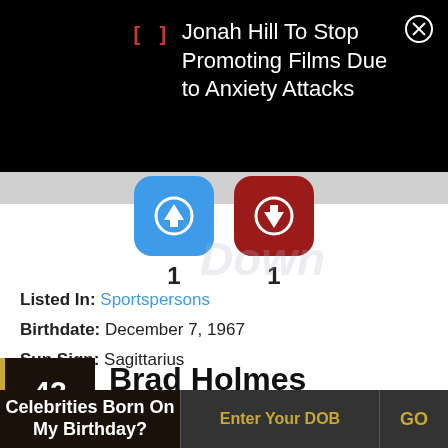[Figure (screenshot): Black notification banner showing article title about Jonah Hill with red bracket icon and close button]
[Figure (infographic): Blue upvote button with arrow icon showing count 1, and dark red downvote button with arrow icon showing count 1]
Listed In: Sportspersons
Birthdate: December 7, 1967
Sun Sign: Sagittarius
42 Brad Holmes (Association football manager)
Celebrities Born On My Birthday? Enter Your DOB GO